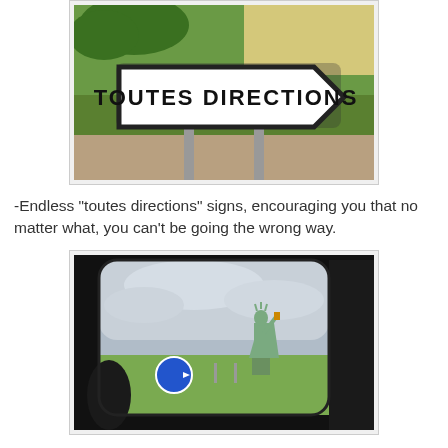[Figure (photo): A French road sign reading 'TOUTES DIRECTIONS' (All Directions) in black text on a white arrow-shaped sign with a black border, mounted on metal posts, with green grass and a yellow wall in the background.]
-Endless "toutes directions" signs, encouraging you that no matter what, you can't be going the wrong way.
[Figure (photo): View from inside a car through the window showing a Statue of Liberty replica on a green lawn with a blue directional road sign nearby, under a cloudy sky.]